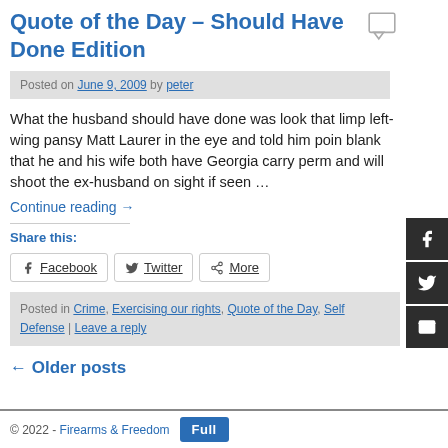Quote of the Day – Should Have Done Edition
Posted on June 9, 2009 by peter
What the husband should have done was look that limp left-wing pansy Matt Laurer in the eye and told him point blank that he and his wife both have Georgia carry perm and will shoot the ex-husband on sight if seen …
Continue reading →
Share this:
Facebook  Twitter  More
Posted in Crime, Exercising our rights, Quote of the Day, Self Defense | Leave a reply
← Older posts
© 2022 - Firearms & Freedom  Full